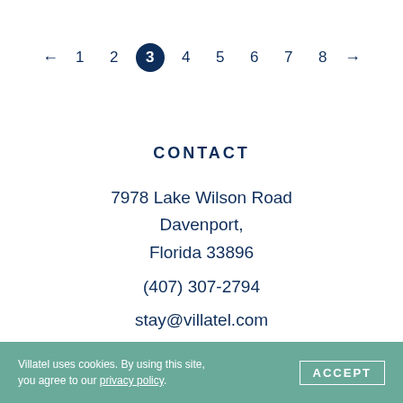← 1 2 3 4 5 6 7 8 →
CONTACT
7978 Lake Wilson Road
Davenport,
Florida 33896
(407) 307-2794
stay@villatel.com
Villatel uses cookies. By using this site, you agree to our privacy policy.